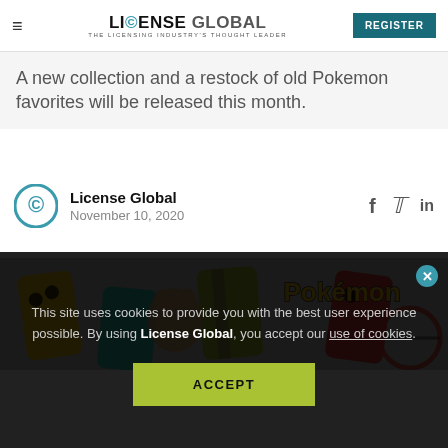LICENSE GLOBAL - THE LICENSING INDUSTRY'S THOUGHT LEADER | REGISTER
A new collection and a restock of old Pokemon favorites will be released this month.
License Global
November 10, 2020
[Figure (photo): Pokemon phone cases featuring Eevee and Pokeball designs with yellow, green, teal, and red cases displaying the Pokémon logo]
This site uses cookies to provide you with the best user experience possible. By using License Global, you accept our use of cookies.
ACCEPT